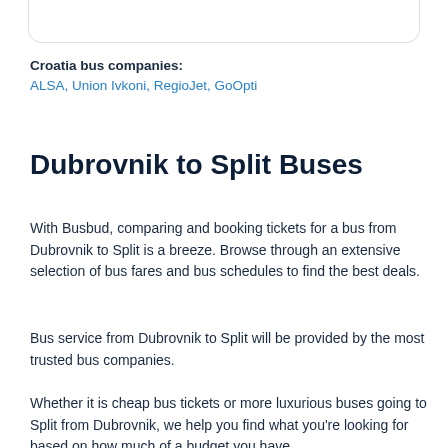Croatia bus companies:
ALSA, Union Ivkoni, RegioJet, GoOpti
Dubrovnik to Split Buses
With Busbud, comparing and booking tickets for a bus from Dubrovnik to Split is a breeze. Browse through an extensive selection of bus fares and bus schedules to find the best deals.
Bus service from Dubrovnik to Split will be provided by the most trusted bus companies.
Whether it is cheap bus tickets or more luxurious buses going to Split from Dubrovnik, we help you find what you're looking for based on how much of a budget you have.